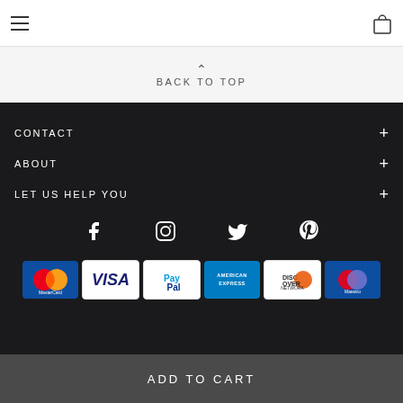Navigation header with hamburger menu and cart icon
BACK TO TOP
CONTACT +
ABOUT +
LET US HELP YOU +
[Figure (infographic): Social media icons row: Facebook, Instagram, Twitter, Pinterest]
[Figure (infographic): Payment method icons: Mastercard, Visa, PayPal, American Express, Discover, Maestro]
ADD TO CART